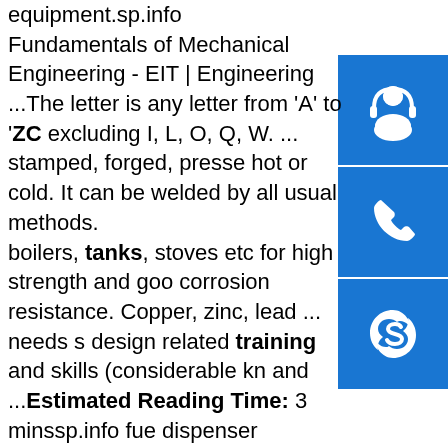equipment.sp.info Fundamentals of Mechanical Engineering - EIT | Engineering ...The letter is any letter from 'A' to 'ZC excluding I, L, O, Q, W. ... stamped, forged, pressed hot or cold. It can be welded by all usual methods. boilers, tanks, stoves etc for high strength and good corrosion resistance. Copper, zinc, lead ... needs s design related training and skills (considerable kn and ...Estimated Reading Time: 3 minssp.info fuel dispenser suppliers for sale in Jamaica - Censtar ...Censtar electronic diesel fuel pump,fuel pump d , China Fuel Dispensing Pump Classic Series (ZC 11112 , SK10 Fuel Dispenser, Sell Fuel Dispenser Sk10 Suppliers . Diesel Fuel Tank, 170 Gallons, Single Wall Agri Supply 29644. This 170 gallon diesel fuel tank is constructed of 12 gauge steel.sp.info Alternative thermochemical routes for aviation biofuels ...Alternative aviation fuels such as bio-jet fuels, liquid natural gas (LCH4), hydrogen (H2),